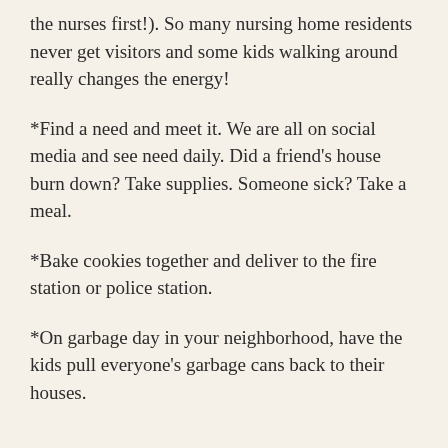the nurses first!). So many nursing home residents never get visitors and some kids walking around really changes the energy!
*Find a need and meet it. We are all on social media and see need daily. Did a friend's house burn down? Take supplies. Someone sick? Take a meal.
*Bake cookies together and deliver to the fire station or police station.
*On garbage day in your neighborhood, have the kids pull everyone's garbage cans back to their houses.